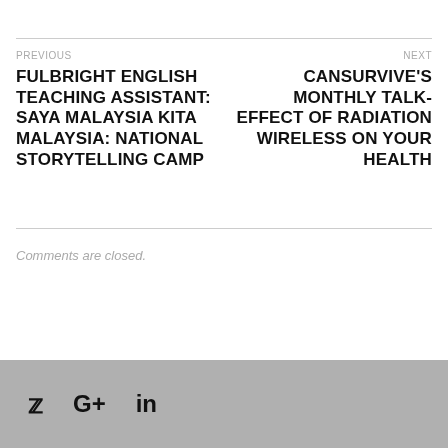PREVIOUS
FULBRIGHT ENGLISH TEACHING ASSISTANT: SAYA MALAYSIA KITA MALAYSIA: NATIONAL STORYTELLING CAMP
NEXT
CANSURVIVE'S MONTHLY TALK-EFFECT OF RADIATION WIRELESS ON YOUR HEALTH
Comments are closed.
[Figure (other): Footer bar with social media icons: Twitter bird, Google+, LinkedIn]